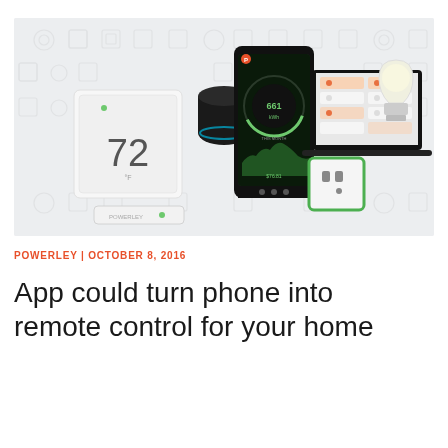[Figure (photo): Smart home product lineup including a smart thermostat displaying 72 degrees, Amazon Echo smart speaker, a smartphone running the Powerley energy management app showing usage data, a tablet/laptop with smart home controls dashboard, a smart electrical outlet with green LED highlighted, and a smart light bulb - all arranged on a light grey patterned background with smart home iconography.]
POWERLEY | OCTOBER 8, 2016
App could turn phone into remote control for your home